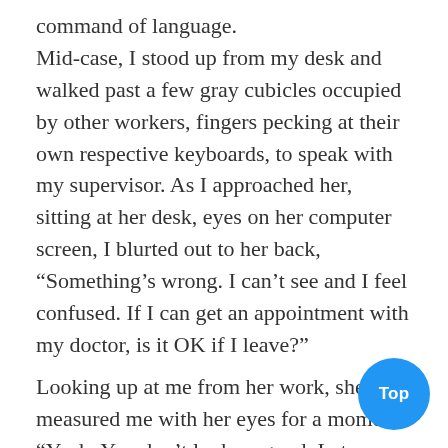command of language. Mid-case, I stood up from my desk and walked past a few gray cubicles occupied by other workers, fingers pecking at their own respective keyboards, to speak with my supervisor. As I approached her, sitting at her desk, eyes on her computer screen, I blurted out to her back, “Something’s wrong. I can’t see and I feel confused. If I can get an appointment with my doctor, is it OK if I leave?”
Looking up at me from her work, she measured me with her eyes for a moment. “Yeah. You don’t look so good. Let me know what your doctor says.”
Turning back toward my desk made my head swim, and the floor seemed to tilt a little bit. Focusing my eyes on any one thing was completely outside of my ability, and walking back to my cubicle was more a